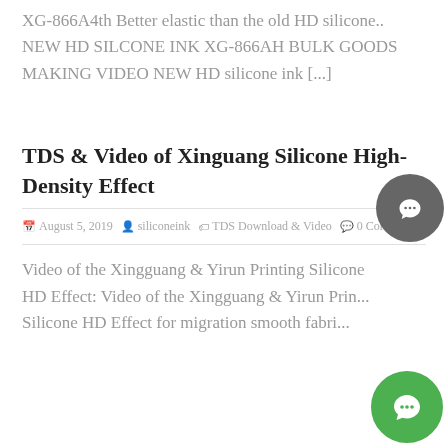XG-866A4th Better elastic than the old HD silicone.. NEW HD SILCONE INK XG-866AH BULK GOODS MAKING VIDEO NEW HD silicone ink [...]
TDS & Video of Xinguang Silicone High-Density Effect
August 5, 2019  siliconeink  TDS Download & Video  0 Comment
Video of the Xingguang & Yirun Printing Silicone HD Effect: Video of the Xingguang & Yirun Printing Silicone HD Effect for migration smooth fabri...